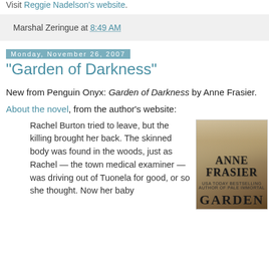Visit Reggie Nadelson's website.
Marshal Zeringue at 8:49 AM
Monday, November 26, 2007
"Garden of Darkness"
New from Penguin Onyx: Garden of Darkness by Anne Frasier.
About the novel, from the author's website:
Rachel Burton tried to leave, but the killing brought her back. The skinned body was found in the woods, just as Rachel — the town medical examiner — was driving out of Tuonela for good, or so she thought. Now her baby
[Figure (photo): Book cover of 'Garden of Darkness' by Anne Frasier, Penguin Onyx publication]